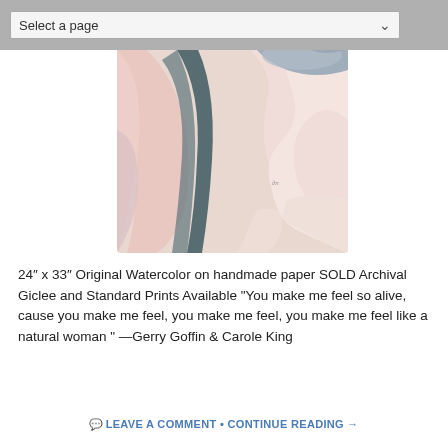[Figure (photo): Abstract watercolor painting with pink, grey, and dark teal brushstrokes on handmade paper, partially visible behind a navigation dropdown at the top.]
24″ x 33″ Original Watercolor on handmade paper SOLD Archival Giclee and Standard Prints Available “You make me feel so alive, cause you make me feel, you make me feel, you make me feel like a natural woman ” —Gerry Goffin & Carole King
LEAVE A COMMENT • CONTINUE READING →